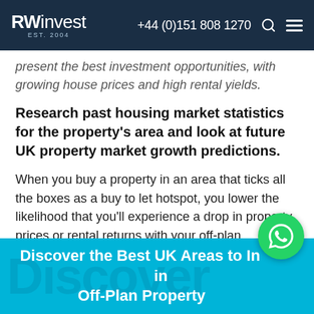RWinvest EST. 2004 | +44 (0)151 808 1270
present the best investment opportunities, with growing house prices and high rental yields.
Research past housing market statistics for the property's area and look at future UK property market growth predictions.
When you buy a property in an area that ticks all the boxes as a buy to let hotspot, you lower the likelihood that you'll experience a drop in property prices or rental returns with your off-plan purchase.
Discover the Best UK Areas to Invest in Off-Plan Property